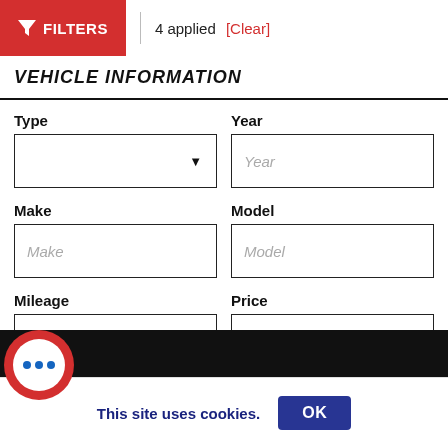FILTERS | 4 applied [Clear]
VEHICLE INFORMATION
Type
Year
Make
Model
Mileage
Price
Details
r Details
[Figure (illustration): Red circular chat bubble icon with white inner circle containing three blue dots]
This site uses cookies. OK